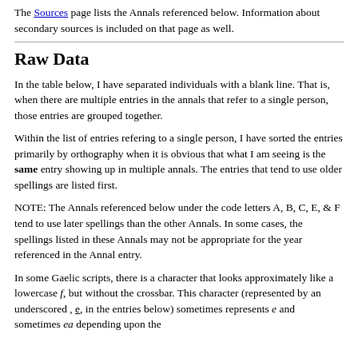The Sources page lists the Annals referenced below. Information about secondary sources is included on that page as well.
Raw Data
In the table below, I have separated individuals with a blank line. That is, when there are multiple entries in the annals that refer to a single person, those entries are grouped together.
Within the list of entries refering to a single person, I have sorted the entries primarily by orthography when it is obvious that what I am seeing is the same entry showing up in multiple annals. The entries that tend to use older spellings are listed first.
NOTE: The Annals referenced below under the code letters A, B, C, E, & F tend to use later spellings than the other Annals. In some cases, the spellings listed in these Annals may not be appropriate for the year referenced in the Annal entry.
In some Gaelic scripts, there is a character that looks approximately like a lowercase f, but without the crossbar. This character (represented by an underscored , e, in the entries below) sometimes represents e and sometimes ea depending upon the